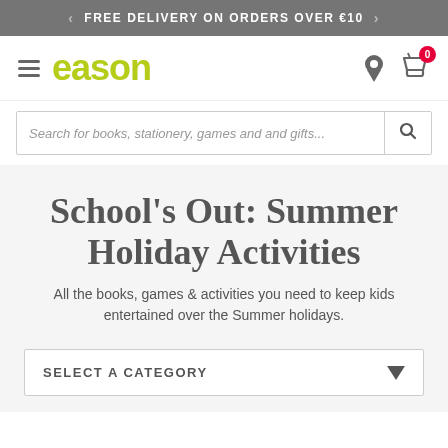FREE DELIVERY ON ORDERS OVER €10
[Figure (logo): Eason logo with hamburger menu, location pin icon, and shopping cart with badge showing 0]
Search for books, stationery, games and and gifts...
School's Out: Summer Holiday Activities
All the books, games & activities you need to keep kids entertained over the Summer holidays.
SELECT A CATEGORY